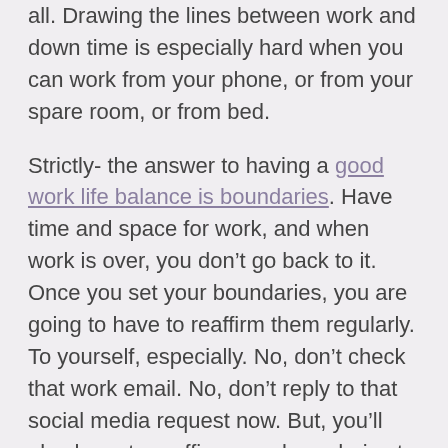all. Drawing the lines between work and down time is especially hard when you can work from your phone, or from your spare room, or from bed.
Strictly- the answer to having a good work life balance is boundaries. Have time and space for work, and when work is over, you don’t go back to it. Once you set your boundaries, you are going to have to reaffirm them regularly. To yourself, especially. No, don’t check that work email. No, don’t reply to that social media request now. But, you’ll also have to reaffirm your boundaries to anyone or anything that wants your time or energy. You